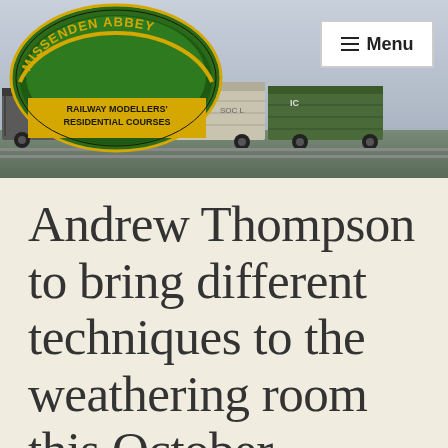[Figure (photo): Missenden Abbey Railway Modellers Residential Courses logo with green arch and yellow text, overlaid on a photograph of model railway wagons including Peterboro Coop wagons, with a Menu button in the top right corner.]
Andrew Thompson to bring different techniques to the weathering room this October